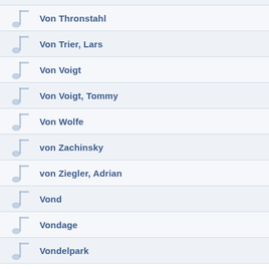Von Thronstahl
Von Trier, Lars
Von Voigt
Von Voigt, Tommy
Von Wolfe
von Zachinsky
von Ziegler, Adrian
Vond
Vondage
Vondelpark
Vondrackova, Helena
VonDream
Vondur
Vonn
Vonulfsreich
Voo Doo Phunk
Voo Voo
Voodeux
Voodoma
Voodoo & Serano